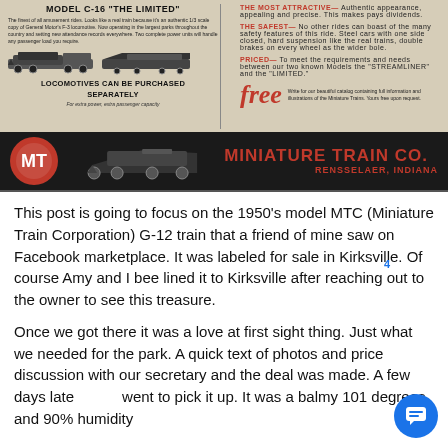[Figure (illustration): Vintage advertisement for Miniature Train Co., Rensselaer, Indiana. Shows Model C-16 'The Limited' train ad with locomotive images, features listed (The Most Attractive, The Safest, Priced), free catalog offer, and company logo at bottom.]
This post is going to focus on the 1950's model MTC (Miniature Train Corporation) G-12 train that a friend of mine saw on Facebook marketplace. It was labeled for sale in Kirksville. Of course Amy and I bee lined it to Kirksville after reaching out to the owner to see this treasure.
Once we got there it was a love at first sight thing. Just what we needed for the park. A quick text of photos and price discussion with our secretary and the deal was made. A few days later went to pick it up. It was a balmy 101 degrees and 90% humidity